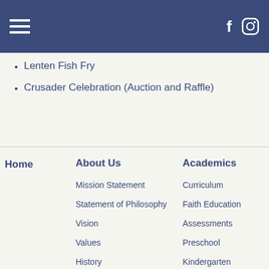Navigation header with hamburger menu, Facebook and Instagram icons
Lenten Fish Fry
Crusader Celebration (Auction and Raffle)
Home
About Us
Mission Statement
Statement of Philosophy
Vision
Values
History
Accountability
Employment Opportunities
Staff Directory
Weekly News Sign Up
Academics
Curriculum
Faith Education
Assessments
Preschool
Kindergarten
Elementary &